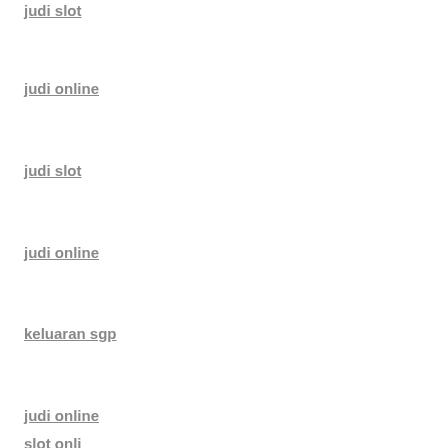judi slot
judi online
judi slot
judi online
keluaran sgp
judi online
slot onli...